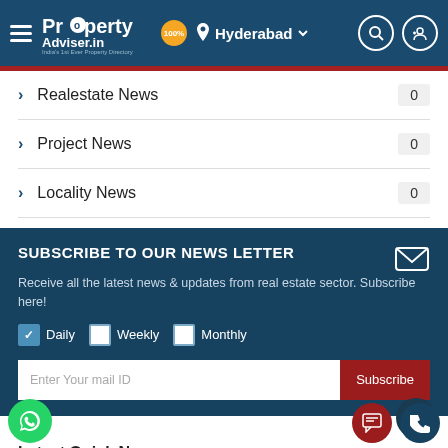[Figure (screenshot): PropertyAdviser.in website header with logo, Hyderabad location, search and user icons on dark blue background]
Realestate News  0
Project News  0
Locality News  0
SUBSCRIBE TO OUR NEWS LETTER
Receive all the latest news & updates from real estate sector. Subscribe here!
Daily  Weekly  Monthly
Enter Your mail ID  Subscribe
Latest Quick News
Google to establish its largest campus of India spreading on 7.3